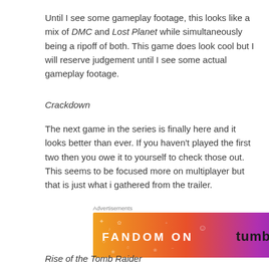Until I see some gameplay footage, this looks like a mix of DMC and Lost Planet while simultaneously being a ripoff of both. This game does look cool but I will reserve judgement until I see some actual gameplay footage.
Crackdown
The next game in the series is finally here and it looks better than ever. If you haven't played the first two then you owe it to yourself to check those out. This seems to be focused more on multiplayer but that is just what i gathered from the trailer.
[Figure (other): Fandom on Tumblr advertisement banner with orange to purple gradient background and decorative icons]
Rise of the Tomb Raider